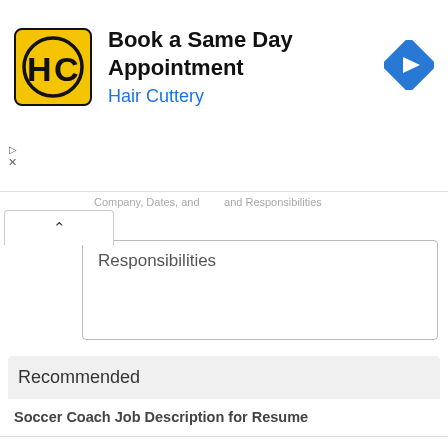[Figure (screenshot): Advertisement banner for Hair Cuttery: Book a Same Day Appointment. Shows Hair Cuttery logo (HC in yellow square), title text, blue Hair Cuttery link, and blue diamond navigation arrow.]
Responsibilities
Recommended
Soccer Coach Job Description for Resume
Top 8 Soccer Coach Resume Objective Examples
Soccer Coach Resume Example
Assistant Soccer Coach Job Description
Youth Soccer Coach Cover Letter Sample